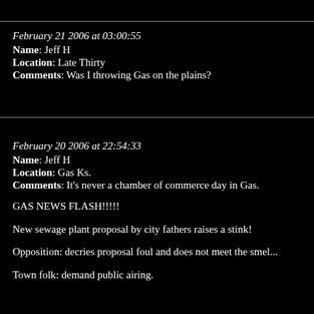February 21 2006 at 03:00:55
Name: Jeff H
Location: Late Thirty
Comments: Was I throwing Gas on the plains?
February 20 2006 at 22:54:33
Name: Jeff H
Location: Gas Ks.
Comments: It's never a chamber of commerce day in Gas.

GAS NEWS FLASH!!!!!

New sewage plant proposal by city fathers raises a stink!

Opposition: decries proposal foul and does not meet the smel...

Town folk: demand public airing.